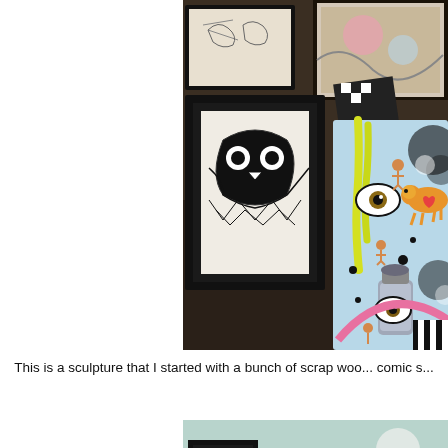[Figure (photo): Photograph of an art studio wall with framed black-and-white drawings and a colorful decorated sculpture/artwork in the foreground featuring illustrated characters, eyes, and spray paint cans with yellow drips and comic-style figures.]
This is a sculpture that I started with a bunch of scrap woo... comic s...
[Figure (photo): Partial photograph of what appears to be an art workspace with a light bulb and colorful objects visible.]